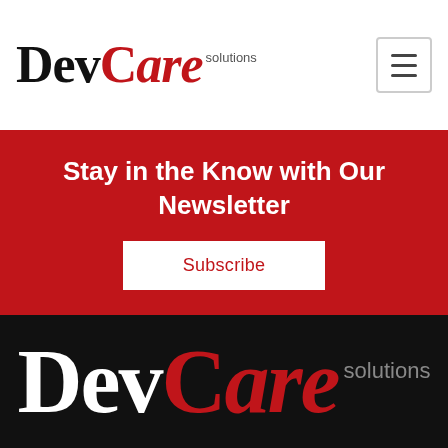[Figure (logo): DevCare Solutions logo at top of page, black and red text on white background with hamburger menu icon]
Stay in the Know with Our Newsletter
Subscribe
[Figure (logo): DevCare Solutions logo large white and red text on black background]